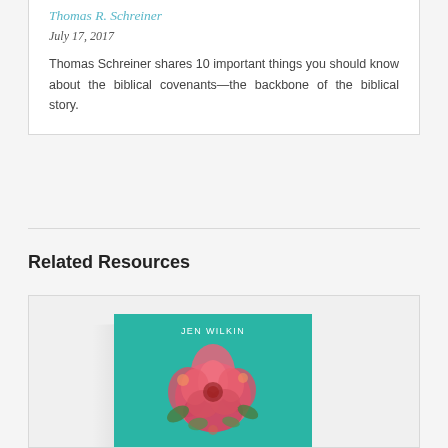Thomas R. Schreiner
July 17, 2017
Thomas Schreiner shares 10 important things you should know about the biblical covenants—the backbone of the biblical story.
Related Resources
[Figure (photo): Book cover for 'None Like Him' by Jen Wilkin. Teal/turquoise background with large pink floral arrangement and white bold text reading NONE LIKE HIM.]